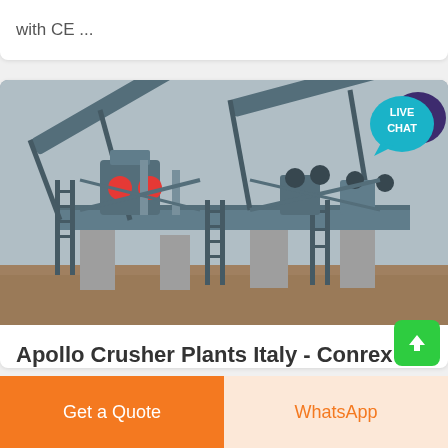with CE ...
[Figure (photo): Industrial Apollo crusher plant machinery with large conveyor belts, steel framework, and concrete supports on a construction/mining site]
Apollo Crusher Plants Italy - Conrex Machinery
We have apollo crusher plants italy.Apollo Crusher Plants Italy
[Figure (infographic): Live Chat speech bubble icon in teal/cyan color with dark purple background bubble]
Get a Quote
WhatsApp